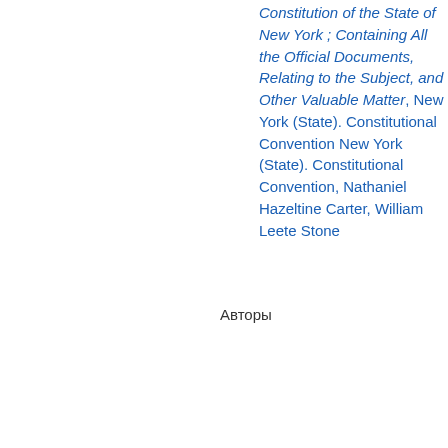Constitution of the State of New York ; Containing All the Official Documents, Relating to the Subject, and Other Valuable Matter, New York (State). Constitutional Convention New York (State). Constitutional Convention, Nathaniel Hazeltine Carter, William Leete Stone
Авторы